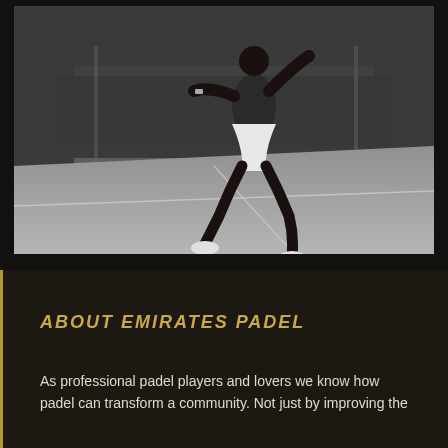[Figure (photo): Black and white photograph of a padel player mid-air jumping on a padel court, wearing white shorts and dark top, with the glass walls and green hedges of the court visible in the background.]
ABOUT EMIRATES PADEL
As professional padel players and lovers we know how padel can transform a community. Not just by improving the